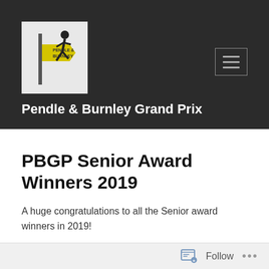[Figure (logo): Pendle & Burnley Grand Prix running logo — silhouette of a runner beside a yellow directional sign, on a light grey background]
Pendle & Burnley Grand Prix
PBGP Senior Award Winners 2019
A huge congratulations to all the Senior award winners in 2019!
Male Overall:
Follow ...